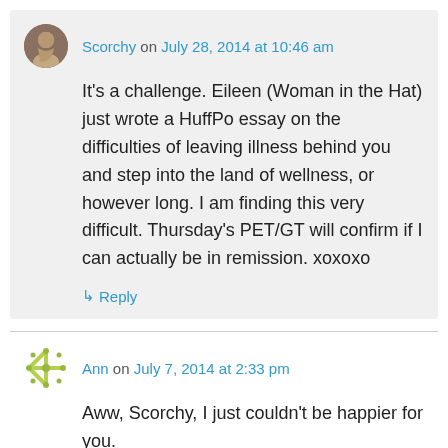Scorchy on July 28, 2014 at 10:46 am
It's a challenge. Eileen (Woman in the Hat) just wrote a HuffPo essay on the difficulties of leaving illness behind you and step into the land of wellness, or however long. I am finding this very difficult. Thursday's PET/GT will confirm if I can actually be in remission. xoxoxo
↳ Reply
Ann on July 7, 2014 at 2:33 pm
Aww, Scorchy, I just couldn't be happier for you. Both for the remission itself and for moving